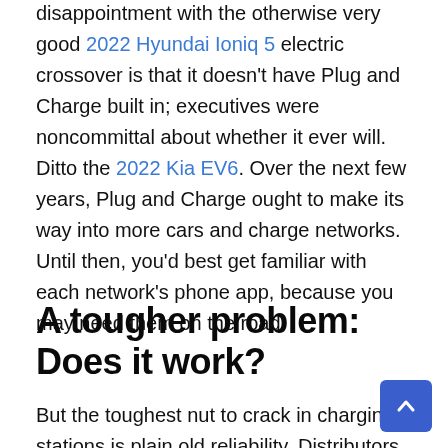disappointment with the otherwise very good 2022 Hyundai Ioniq 5 electric crossover is that it doesn't have Plug and Charge built in; executives were noncommittal about whether it ever will. Ditto the 2022 Kia EV6. Over the next few years, Plug and Charge ought to make its way into more cars and charge networks. Until then, you'd best get familiar with each network's phone app, because you may need them on the road.
A tougher problem: Does it work?
But the toughest nut to crack in charging stations is plain old reliability. Distributors of